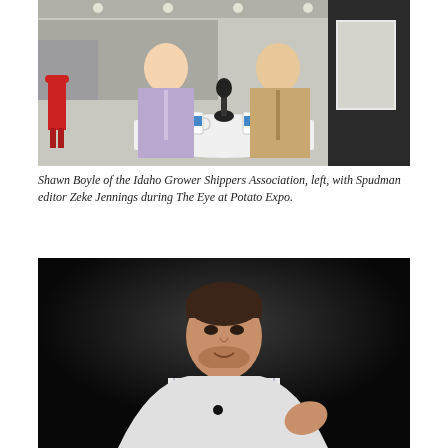[Figure (photo): Two men sitting at a round white table in a convention center expo hall. The man on the left wears a light purple collared shirt, the man on the right wears a tan blazer. A microphone is on the table between them along with branded coffee mugs. Red chairs and other expo attendees visible in the background.]
Shawn Boyle of the Idaho Grower Shippers Association, left, with Spudman editor Zeke Jennings during The Eye at Potato Expo.
[Figure (photo): A young man with dark hair and a short beard speaking at an event, against a dark/black background. He is wearing a light-colored striped collared shirt and appears to be gesturing with his right hand while speaking.]